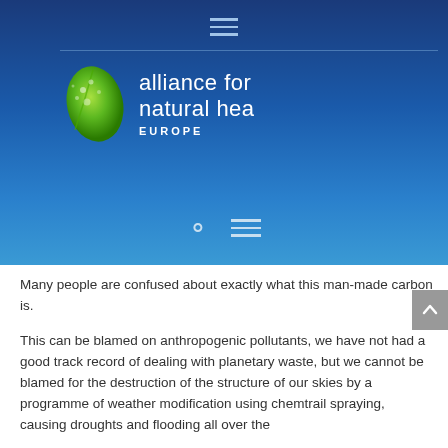[Figure (logo): Alliance for Natural Health Europe logo with green leaf icon and white text]
Many people are confused about exactly what this man-made carbon is.
This can be blamed on anthropogenic pollutants, we have not had a good track record of dealing with planetary waste, but we cannot be blamed for the destruction of the structure of our skies by a programme of weather modification using chemtrail spraying, causing droughts and flooding all over the